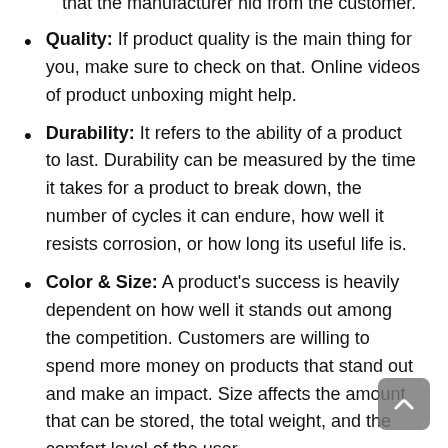Quality: If product quality is the main thing for you, make sure to check on that. Online videos of product unboxing might help.
Durability: It refers to the ability of a product to last. Durability can be measured by the time it takes for a product to break down, the number of cycles it can endure, how well it resists corrosion, or how long its useful life is.
Color & Size: A product's success is heavily dependent on how well it stands out among the competition. Customers are willing to spend more money on products that stand out and make an impact. Size affects the amount that can be stored, the total weight, and the comfort level of the user.